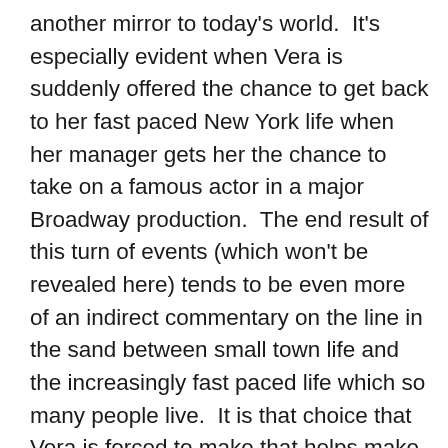another mirror to today's world.  It's especially evident when Vera is suddenly offered the chance to get back to her fast paced New York life when her manager gets her the chance to take on a famous actor in a major Broadway production.  The end result of this turn of events (which won't be revealed here) tends to be even more of an indirect commentary on the line in the sand between small town life and the increasingly fast paced life which so many people live.  It is that choice that Vera is forced to make that helps make The Christmas Pageant a heartwarming and relatable story for viewers.  It is so relatable in that just as Vera allowed herself to inevitably get far too caught up in her busy lifestyle, so do we in our everyday lives.  It's because of that that we need our own awakening to make us slow down and change things so as to better appreciate those around us and what we